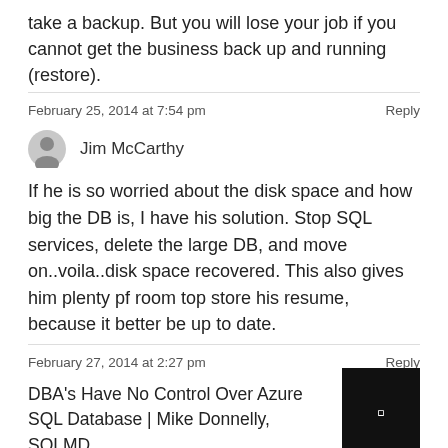take a backup. But you will lose your job if you cannot get the business back up and running (restore).
February 25, 2014 at 7:54 pm
Reply
Jim McCarthy
If he is so worried about the disk space and how big the DB is, I have his solution. Stop SQL services, delete the large DB, and move on..voila..disk space recovered. This also gives him plenty pf room top store his resume, because it better be up to date.
February 27, 2014 at 2:27 pm
Reply
DBA's Have No Control Over Azure SQL Database | Mike Donnelly, SQLMD